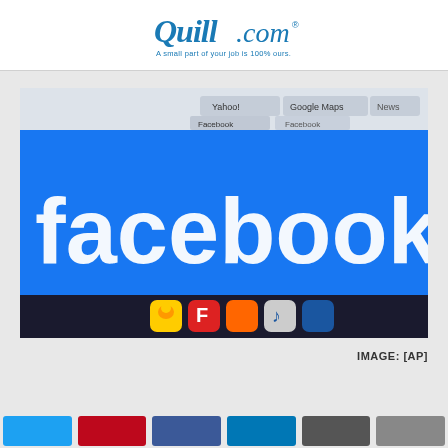[Figure (logo): Quill.com logo with tagline 'A small part of your job is 100% ours']
[Figure (photo): Close-up photograph of a Facebook webpage displayed on a computer monitor, viewed through a magnifying glass. Browser tabs visible showing Yahoo!, Google Maps, and Facebook. The large 'facebook' logo in white text is prominently displayed against a blue background.]
IMAGE: [AP]
[Figure (other): Row of social media sharing buttons: Twitter (blue), Pinterest (red), Facebook (dark blue), LinkedIn (blue), and two gray buttons]